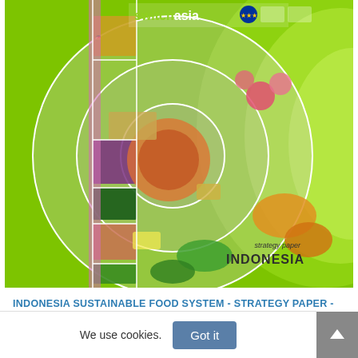[Figure (photo): Cover image of the Indonesia Sustainable Food System Strategy Paper. Features the SwitchAsia logo with EU and partner logos at the top, a circular collage of various food items (vegetables, fruits, spices, grains) arranged in concentric circles on a bright green background with layered curved shapes. Bottom right shows text 'strategy paper INDONESIA'.]
INDONESIA SUSTAINABLE FOOD SYSTEM - STRATEGY PAPER -
We use cookies.